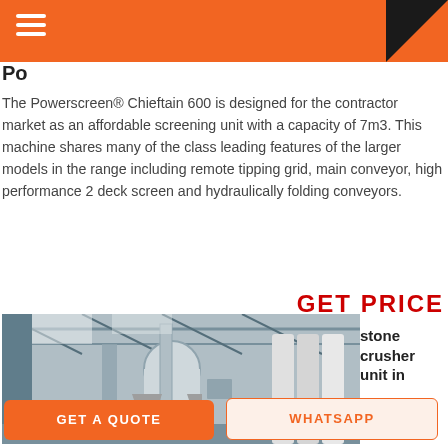Powerscreen Chieftain 600
The Powerscreen® Chieftain 600 is designed for the contractor market as an affordable screening unit with a capacity of 7m3. This machine shares many of the class leading features of the larger models in the range including remote tipping grid, main conveyor, high performance 2 deck screen and hydraulically folding conveyors.
GET PRICE
stone crusher unit in
[Figure (photo): Industrial stone crusher/screening unit inside a factory building with large cylindrical silos and overhead roof structure]
GET A QUOTE
WHATSAPP